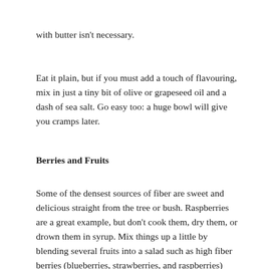with butter isn't necessary.
Eat it plain, but if you must add a touch of flavouring, mix in just a tiny bit of olive or grapeseed oil and a dash of sea salt. Go easy too: a huge bowl will give you cramps later.
Berries and Fruits
Some of the densest sources of fiber are sweet and delicious straight from the tree or bush. Raspberries are a great example, but don't cook them, dry them, or drown them in syrup. Mix things up a little by blending several fruits into a salad such as high fiber berries (blueberries, strawberries, and raspberries)